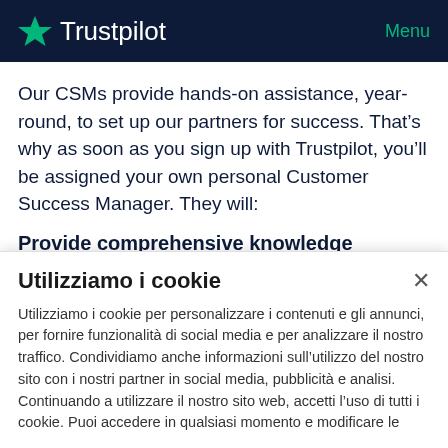Trustpilot   Menu
Our CSMs provide hands-on assistance, year-round, to set up our partners for success. That's why as soon as you sign up with Trustpilot, you'll be assigned your own personal Customer Success Manager. They will:
Provide comprehensive knowledge
In an industry that's continually being disrupted, your CSM
Utilizziamo i cookie
Utilizziamo i cookie per personalizzare i contenuti e gli annunci, per fornire funzionalità di social media e per analizzare il nostro traffico. Condividiamo anche informazioni sull'utilizzo del nostro sito con i nostri partner in social media, pubblicità e analisi. Continuando a utilizzare il nostro sito web, accetti l'uso di tutti i cookie. Puoi accedere in qualsiasi momento e modificare le